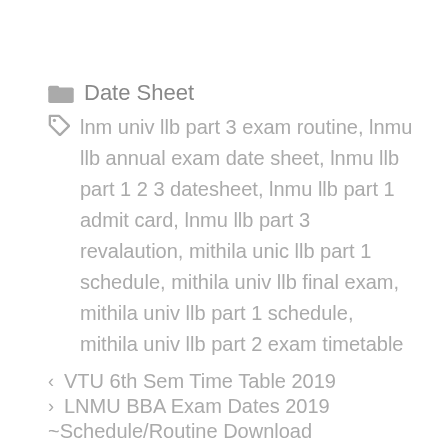Date Sheet
lnm univ llb part 3 exam routine, lnmu llb annual exam date sheet, lnmu llb part 1 2 3 datesheet, lnmu llb part 1 admit card, lnmu llb part 3 revalaution, mithila unic llb part 1 schedule, mithila univ llb final exam, mithila univ llb part 1 schedule, mithila univ llb part 2 exam timetable
VTU 6th Sem Time Table 2019
LNMU BBA Exam Dates 2019
~Schedule/Routine Download